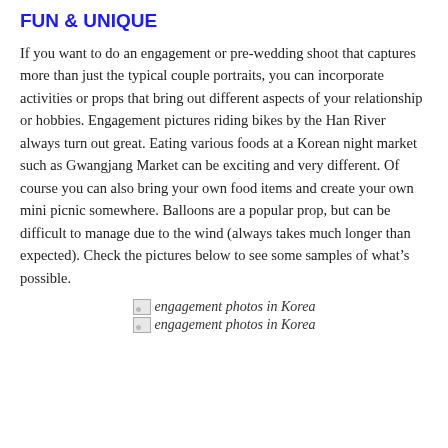FUN & UNIQUE
If you want to do an engagement or pre-wedding shoot that captures more than just the typical couple portraits, you can incorporate activities or props that bring out different aspects of your relationship or hobbies. Engagement pictures riding bikes by the Han River always turn out great. Eating various foods at a Korean night market such as Gwangjang Market can be exciting and very different. Of course you can also bring your own food items and create your own mini picnic somewhere. Balloons are a popular prop, but can be difficult to manage due to the wind (always takes much longer than expected). Check the pictures below to see some samples of what’s possible.
[Figure (photo): engagement photos in Korea - first image placeholder]
[Figure (photo): engagement photos in Korea - second image placeholder]